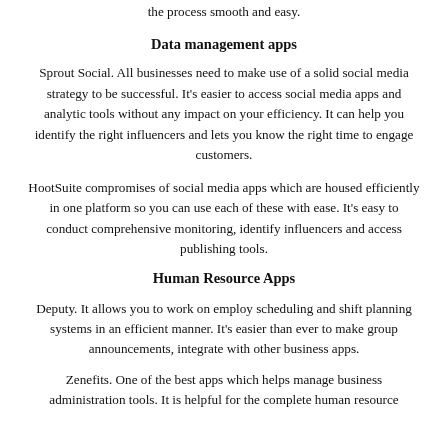the process smooth and easy.
Data management apps
Sprout Social. All businesses need to make use of a solid social media strategy to be successful. It's easier to access social media apps and analytic tools without any impact on your efficiency. It can help you identify the right influencers and lets you know the right time to engage customers.
HootSuite compromises of social media apps which are housed efficiently in one platform so you can use each of these with ease. It's easy to conduct comprehensive monitoring, identify influencers and access publishing tools.
Human Resource Apps
Deputy. It allows you to work on employ scheduling and shift planning systems in an efficient manner. It's easier than ever to make group announcements, integrate with other business apps.
Zenefits. One of the best apps which helps manage business administration tools. It is helpful for the complete human resource